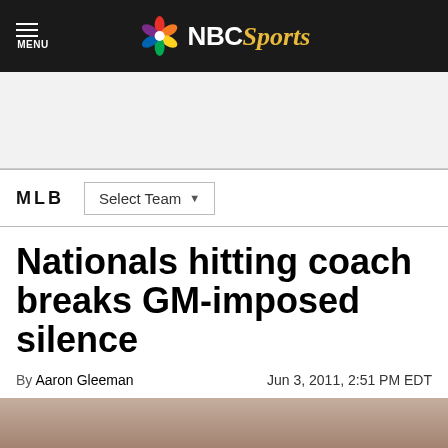NBC Sports
MLB  Select Team
Nationals hitting coach breaks GM-imposed silence
By Aaron Gleeman   Jun 3, 2011, 2:51 PM EDT
[Figure (photo): Photo image at the bottom of the article page, partially visible]